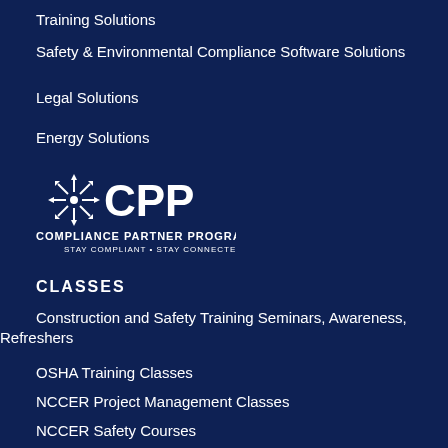Training Solutions
Safety & Environmental Compliance Software Solutions
Legal Solutions
Energy Solutions
[Figure (logo): CPP Compliance Partner Program logo with compass/arrow symbol and tagline STAY COMPLIANT • STAY CONNECTED]
CLASSES
Construction and Safety Training Seminars, Awareness, Refreshers
OSHA Training Classes
NCCER Project Management Classes
NCCER Safety Courses
NCCER Workforce Development Training Courses